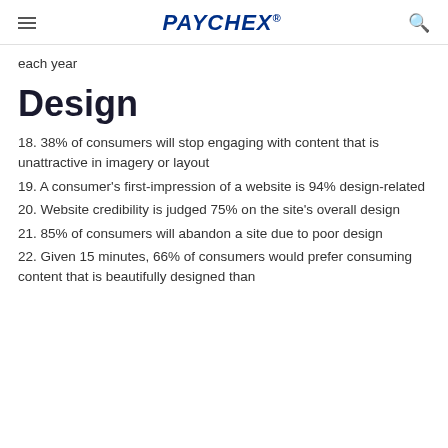PAYCHEX
each year
Design
18. 38% of consumers will stop engaging with content that is unattractive in imagery or layout
19. A consumer's first-impression of a website is 94% design-related
20. Website credibility is judged 75% on the site's overall design
21. 85% of consumers will abandon a site due to poor design
22. Given 15 minutes, 66% of consumers would prefer consuming content that is beautifully designed than